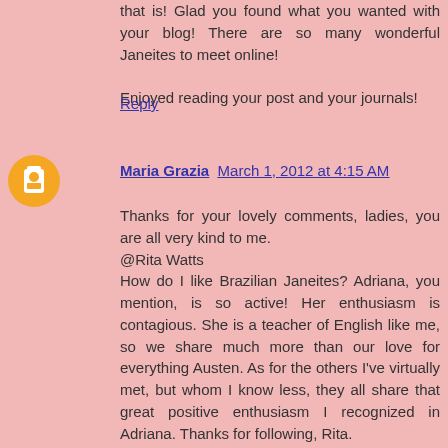that is! Glad you found what you wanted with your blog! There are so many wonderful Janeites to meet online!
Enjoyed reading your post and your journals!
Reply
[Figure (illustration): Orange circular avatar/icon with blogger logo]
Maria Grazia March 1, 2012 at 4:15 AM
Thanks for your lovely comments, ladies, you are all very kind to me.
@Rita Watts
How do I like Brazilian Janeites? Adriana, you mention, is so active! Her enthusiasm is contagious. She is a teacher of English like me, so we share much more than our love for everything Austen. As for the others I've virtually met, but whom I know less, they all share that great positive enthusiasm I recognized in Adriana. Thanks for following, Rita.
@oloore
I'm glad you find my daily paper useful and that you liked my collage of P&P first proposals. Which is your favourite